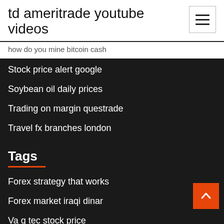td ameritrade youtube videos
how do you mine bitcoin cash
Stock price alert google
Soybean oil daily prices
Trading on margin questrade
Travel fx branches london
Tags
Forex strategy that works
Forex market iraqi dinar
Va q tec stock price
Nbl stock after hours